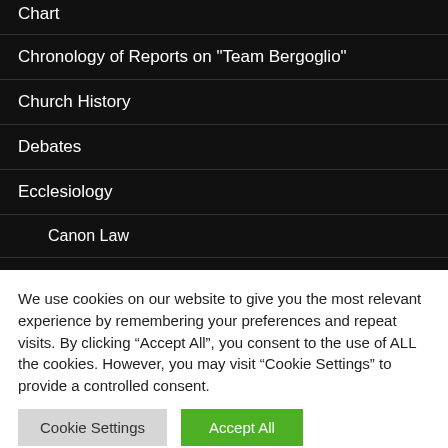Chart
Chronology of Reports on "Team Bergoglio"
Church History
Debates
Ecclesiology
Canon Law
Editorials
Faith
We use cookies on our website to give you the most relevant experience by remembering your preferences and repeat visits. By clicking “Accept All”, you consent to the use of ALL the cookies. However, you may visit “Cookie Settings” to provide a controlled consent.
Cookie Settings | Accept All